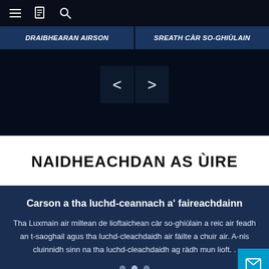Navigation bar with hamburger menu, bookmark icon, and search icon
DRAIBHEARAN AIRSON | SREATH CÀR SO-GHIÙLAIN
[Figure (screenshot): Dark banner area with navigation arrow buttons (< and >) for a carousel slider]
NAIDHEACHDAN AS ÙIRE
Carson a tha luchd-ceannach a' faireachdainn
Tha Luxmain air miltean de lioftaichean càr so-ghiùlain a reic air feadh an t-saoghail agus tha luchd-cleachdaidh air fàilte a chuir air. A-nis cluinnidh sinn na tha luchd-cleachdaidh ag ràdh mun lioft. .